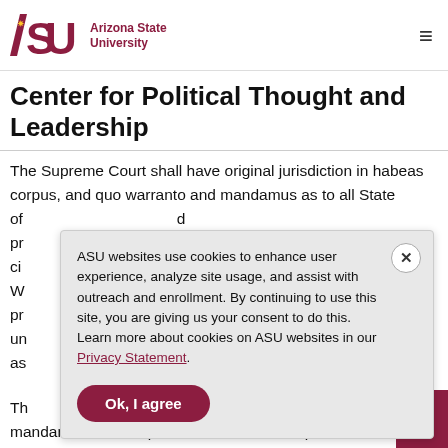ASU Arizona State University
Center for Political Thought and Leadership
The Supreme Court shall have original jurisdiction in habeas corpus, and quo warranto and mandamus as to all State of... d pr... o ci... erty W... e p... un... as...
ASU websites use cookies to enhance user experience, analyze site usage, and assist with outreach and enrollment. By continuing to use this site, you are giving us your consent to do this. Learn more about cookies on ASU websites in our Privacy Statement.
Ok, I agree
Th... mandamus, review, prohibition, habeas corpus, certiorari, and